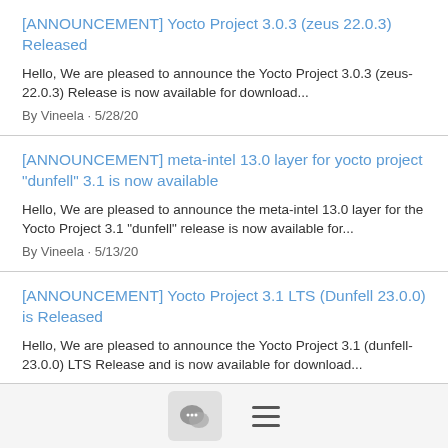[ANNOUNCEMENT] Yocto Project 3.0.3 (zeus 22.0.3) Released
Hello, We are pleased to announce the Yocto Project 3.0.3 (zeus-22.0.3) Release is now available for download...
By Vineela · 5/28/20
[ANNOUNCEMENT] meta-intel 13.0 layer for yocto project "dunfell" 3.1 is now available
Hello, We are pleased to announce the meta-intel 13.0 layer for the Yocto Project 3.1 "dunfell" release is now available for...
By Vineela · 5/13/20
[ANNOUNCEMENT] Yocto Project 3.1 LTS (Dunfell 23.0.0) is Released
Hello, We are pleased to announce the Yocto Project 3.1 (dunfell-23.0.0) LTS Release and is now available for download...
By Vineela · 4/21/20